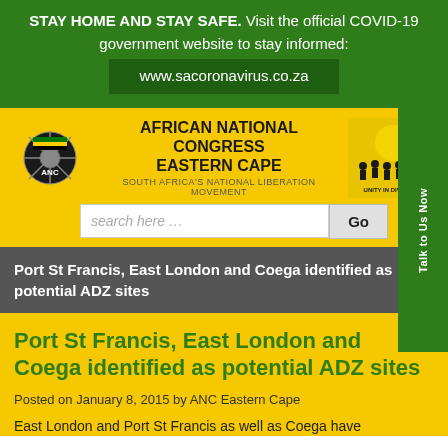STAY HOME AND STAY SAFE. Visit the official COVID-19 government website to stay informed: www.sacoronavirus.co.za
[Figure (logo): ANC logo with wheel emblem and text 'ANC']
AFRICAN NATIONAL CONGRESS EASTERN CAPE
SOUTH AFRICA'S NATIONAL LIBERATION MOVEMENT
[Figure (illustration): Unity in Diversity badge with people and ANC flag]
Port St Francis, East London and Coega identified as potential ADZ sites
Port St Francis, East London and Coega identified as potential ADZ sites
Posted on January 8, 2015 by ANC Eastern Cape
East London and Port St Francis as well as Coega have